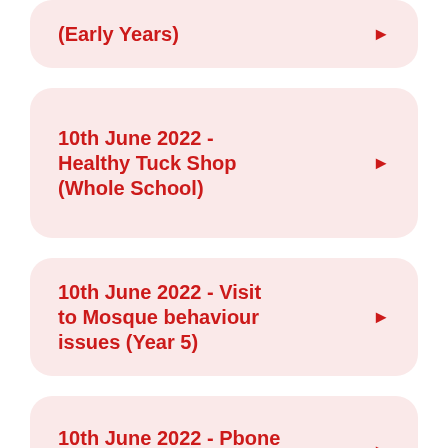(Early Years)
10th June 2022 - Healthy Tuck Shop (Whole School)
10th June 2022 - Visit to Mosque behaviour issues (Year 5)
10th June 2022 - Pbone concert (4 Cowell)